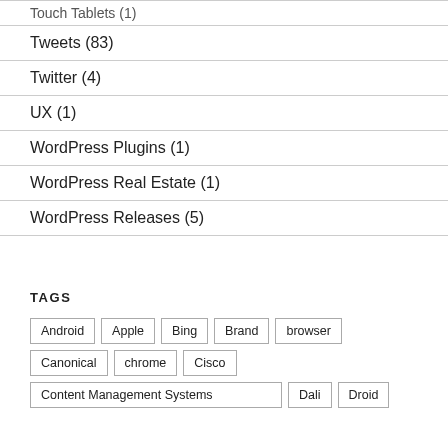Touch Tablets (1)
Tweets (83)
Twitter (4)
UX (1)
WordPress Plugins (1)
WordPress Real Estate (1)
WordPress Releases (5)
TAGS
Android
Apple
Bing
Brand
browser
Canonical
chrome
Cisco
Content Management Systems
Dali
Droid